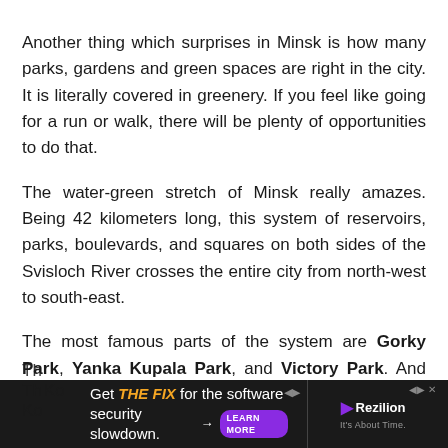Another thing which surprises in Minsk is how many parks, gardens and green spaces are right in the city. It is literally covered in greenery. If you feel like going for a run or walk, there will be plenty of opportunities to do that.
The water-green stretch of Minsk really amazes. Being 42 kilometers long, this system of reservoirs, parks, boulevards, and squares on both sides of the Svisloch River crosses the entire city from north-west to south-east.
The most famous parts of the system are Gorky Park, Yanka Kupala Park, and Victory Park. And the last one deserves special attention.
[Figure (infographic): Advertisement banner at the bottom: 'Get THE FIX for the software security slowdown.' with a LEARN MORE button, Rezilion logo, and partial overlapping text from the page.]